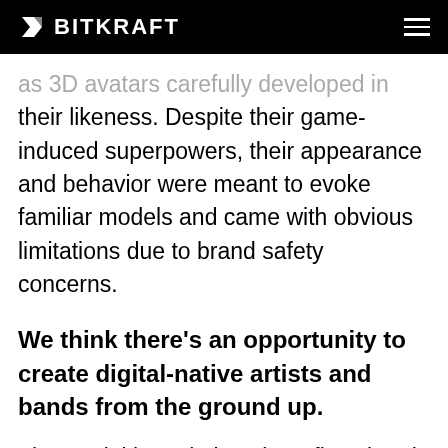BITKRAFT
as 3D avatars carefully developed in their likeness. Despite their game-induced superpowers, their appearance and behavior were meant to evoke familiar models and came with obvious limitations due to brand safety concerns.
We think there's an opportunity to create digital-native artists and bands from the ground up.
The model has obvious benefits: virtual artists don't get tired, sick, or old. Not